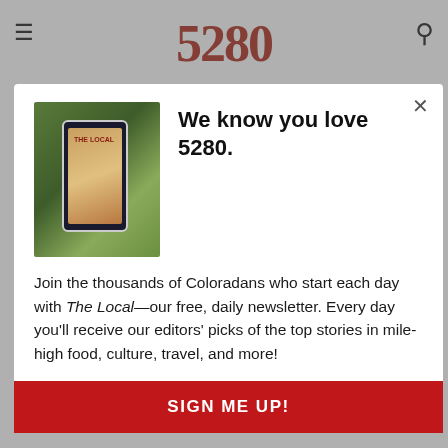5280
Deviation Distilling Candle and Cocktails | October
properly shake, pour and garnish Halloween-inspired drinks. $40 per person; 6:30–8:30 p.m.; 900 W. 1st Ave.
[Figure (screenshot): Modal overlay on 5280 magazine website. Shows a newsletter signup popup with image of a hand holding a phone displaying The Local newsletter, headline 'We know you love 5280.', body text inviting readers to join The Local daily newsletter, and a red SIGN ME UP! button.]
We know you love 5280.
Join the thousands of Coloradans who start each day with The Local—our free, daily newsletter. Every day you'll receive our editors' picks of the top stories in mile-high food, culture, travel, and more!
SIGN ME UP!